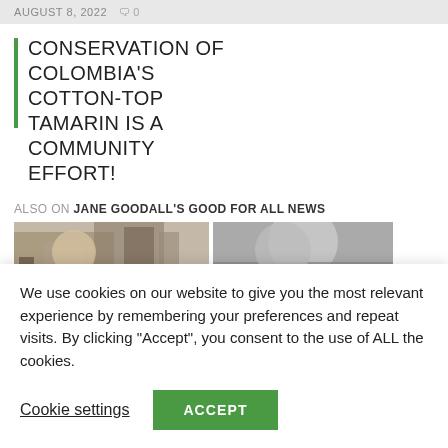AUGUST 8, 2022   💬 0
CONSERVATION OF COLOMBIA'S COTTON-TOP TAMARIN IS A COMMUNITY EFFORT!
ALSO ON JANE GOODALL'S GOOD FOR ALL NEWS
[Figure (photo): Two thumbnail images showing related articles on Jane Goodall's Good For All News]
We use cookies on our website to give you the most relevant experience by remembering your preferences and repeat visits. By clicking "Accept", you consent to the use of ALL the cookies.
Cookie settings   ACCEPT